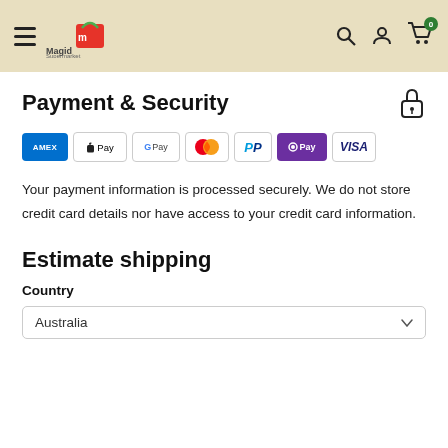Magid Supermarket — navigation header with hamburger menu, logo, search, account, and cart icons
Payment & Security
[Figure (other): Payment method icons: AMEX, Apple Pay, Google Pay, Mastercard, PayPal, OPay, Visa]
Your payment information is processed securely. We do not store credit card details nor have access to your credit card information.
Estimate shipping
Country
Australia